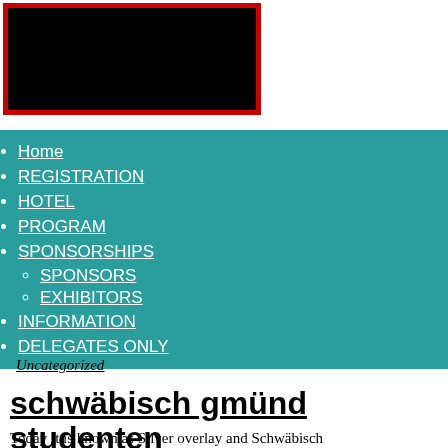[Figure (photo): Black rectangle with red border, likely a logo or banner image placeholder]
Home
REGISTRATION
HOTEL
PROGRAM
SPONSORSHIPS
SPONSORS
EXHIBITORS
INFORMATION
DELEGATES ONLY
Uncategorized
schwäbisch gmünd studenten
Today it is known as Silver overlay and Schwäbisch